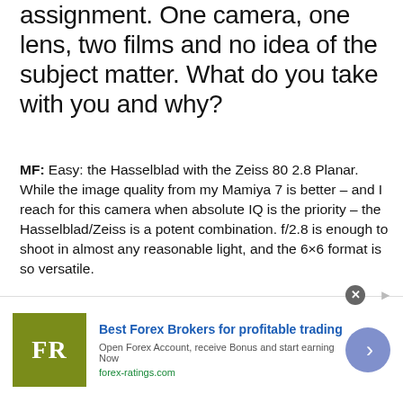assignment. One camera, one lens, two films and no idea of the subject matter. What do you take with you and why?
MF: Easy: the Hasselblad with the Zeiss 80 2.8 Planar. While the image quality from my Mamiya 7 is better – and I reach for this camera when absolute IQ is the priority – the Hasselblad/Zeiss is a potent combination. f/2.8 is enough to shoot in almost any reasonable light, and the 6×6 format is so versatile.
[Figure (photo): Dark horizontal image strip showing a scene, partially visible at bottom of article]
[Figure (other): Advertisement banner: FR logo (olive/green square with white FR text), headline 'Best Forex Brokers for profitable trading', subtext 'Open Forex Account, receive Bonus and start earning Now', link 'forex-ratings.com', blue arrow button on right]